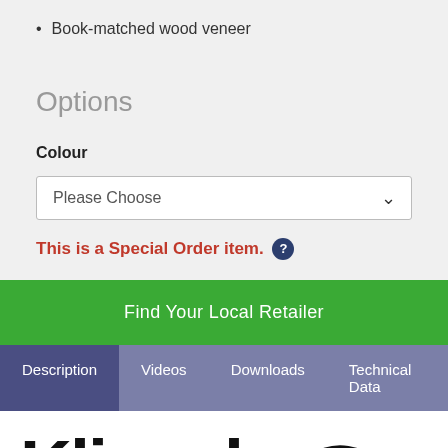Book-matched wood veneer
Options
Colour
Please Choose
This is a Special Order item.
Find Your Local Retailer
Description  Videos  Downloads  Technical Data
[Figure (logo): Klipsch Heritage logo with stylized script swirl]